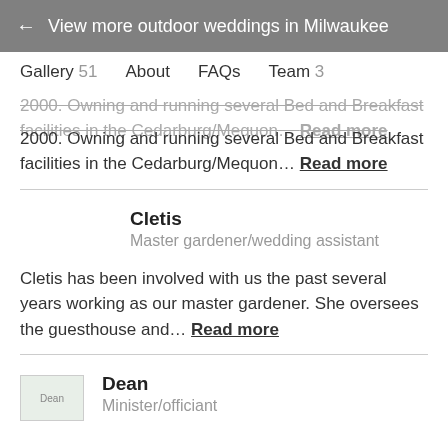← View more outdoor weddings in Milwaukee
Gallery 51   About   FAQs   Team 3
2000. Owning and running several Bed and Breakfast facilities in the Cedarburg/Mequon… Read more
Cletis
Master gardener/wedding assistant
Cletis has been involved with us the past several years working as our master gardener. She oversees the guesthouse and… Read more
Dean
Minister/officiant